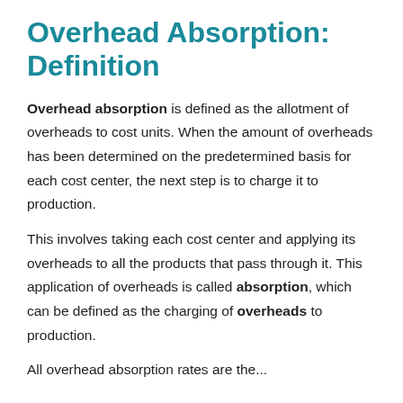Overhead Absorption: Definition
Overhead absorption is defined as the allotment of overheads to cost units. When the amount of overheads has been determined on the predetermined basis for each cost center, the next step is to charge it to production.
This involves taking each cost center and applying its overheads to all the products that pass through it. This application of overheads is called absorption, which can be defined as the charging of overheads to production.
All overhead absorption rates are the...